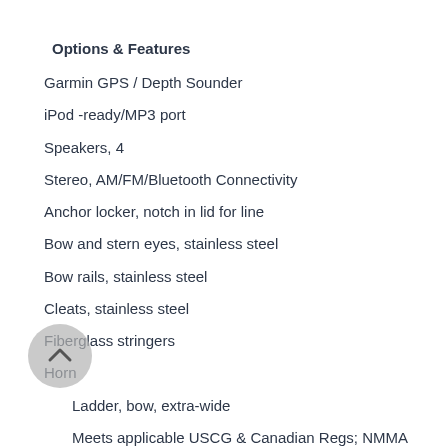Options & Features
Garmin GPS / Depth Sounder
iPod -ready/MP3 port
Speakers, 4
Stereo, AM/FM/Bluetooth Connectivity
Anchor locker, notch in lid for line
Bow and stern eyes, stainless steel
Bow rails, stainless steel
Cleats, stainless steel
Fiberglass stringers
Horn
Ladder, bow, extra-wide
Meets applicable USCG & Canadian Regs; NMMA
Certified using ABYC Stds